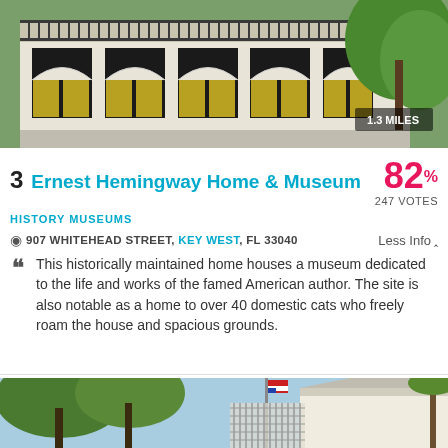[Figure (photo): Exterior of a historic white two-story building with yellow shutters, arched windows, a balcony with ornate iron railings, and large trees]
1.3 MILES
3 Ernest Hemingway Home & Museum
82%
247 VOTES
HISTORY MUSEUMS
907 WHITEHEAD STREET, KEY WEST, FL 33040
Less Info ^
This historically maintained home houses a museum dedicated to the life and works of the famed American author. The site is also notable as a home to over 40 domestic cats who freely roam the house and spacious grounds.
[Figure (photo): Exterior view of a white historic building with trees, flagpole, and ornate fence]